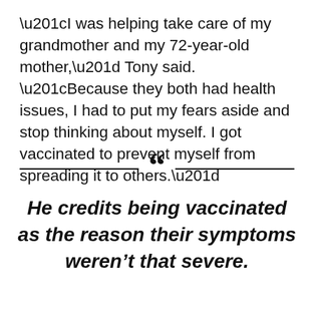“I was helping take care of my grandmother and my 72-year-old mother,” Tony said. “Because they both had health issues, I had to put my fears aside and stop thinking about myself. I got vaccinated to prevent myself from spreading it to others.”
[Figure (other): Decorative divider with two horizontal lines and a large open double quotation mark in the center]
He credits being vaccinated as the reason their symptoms weren’t that severe.